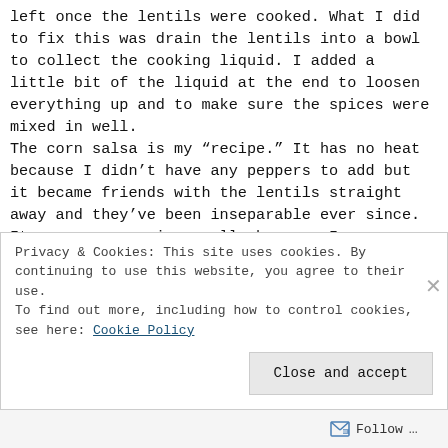left once the lentils were cooked. What I did to fix this was drain the lentils into a bowl to collect the cooking liquid. I added a little bit of the liquid at the end to loosen everything up and to make sure the spices were mixed in well.
The corn salsa is my “recipe.” It has no heat because I didn’t have any peppers to add but it became friends with the lentils straight away and they’ve been inseparable ever since. It was an un-recipe really because I was cleaning out
Privacy & Cookies: This site uses cookies. By continuing to use this website, you agree to their use.
To find out more, including how to control cookies, see here: Cookie Policy
Close and accept
Follow ...